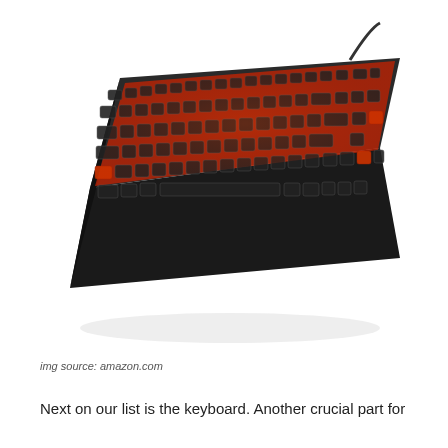[Figure (photo): A black mechanical gaming keyboard with red LED backlighting, shown at an angle. The keyboard is compact (tenkeyless) with individually illuminated keys glowing red/orange, on a white background.]
img source: amazon.com
Next on our list is the keyboard. Another crucial part for